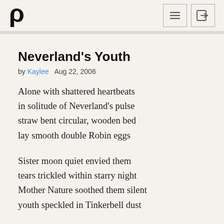Poemhunter logo, menu icon, login icon
Neverland's Youth
by Kaylee   Aug 22, 2006
Alone with shattered heartbeats
in solitude of Neverland's pulse
straw bent circular, wooden bed
lay smooth double Robin eggs
Sister moon quiet envied them
tears trickled within starry night
Mother Nature soothed them silent
youth speckled in Tinkerbell dust
Alone with shattered heartbeats
Father Time went in salted tears